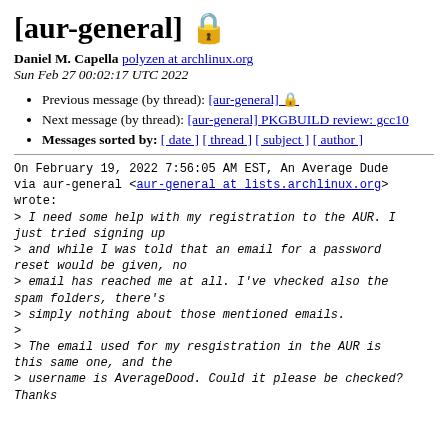[aur-general] 🔒
Daniel M. Capella polyzen at archlinux.org
Sun Feb 27 00:02:17 UTC 2022
Previous message (by thread): [aur-general] 🔒
Next message (by thread): [aur-general] PKGBUILD review: gcc10
Messages sorted by: [ date ] [ thread ] [ subject ] [ author ]
On February 19, 2022 7:56:05 AM EST, An Average Dude via aur-general <aur-general at lists.archlinux.org> wrote:
> I need some help with my registration to the AUR. I just tried signing up
> and while I was told that an email for a password reset would be given, no
> email has reached me at all. I've vhecked also the spam folders, there's
> simply nothing about those mentioned emails.
>
> The email used for my resgistration in the AUR is this same one, and the
> username is AverageDood. Could it please be checked? Thanks